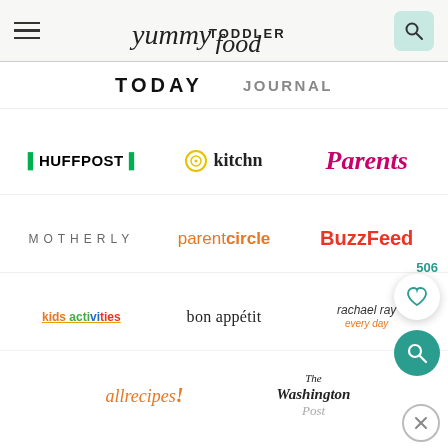yummy TODDLER food
[Figure (logo): TODAY logo (partial view)]
[Figure (logo): JOURNAL logo (partial view)]
[Figure (logo): HuffPost logo]
[Figure (logo): kitchn logo]
[Figure (logo): Parents magazine logo]
[Figure (logo): MOTHERLY logo]
[Figure (logo): parentcircle logo]
[Figure (logo): BuzzFeed logo]
[Figure (logo): kids activities blog logo]
[Figure (logo): bon appétit logo]
[Figure (logo): rachael ray every day logo]
[Figure (logo): allrecipes logo (partial)]
[Figure (logo): The Washington Post logo (partial)]